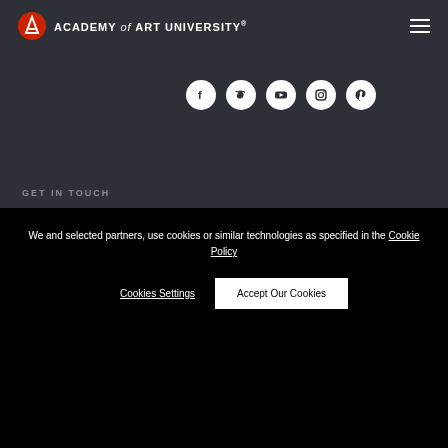ACADEMY of ART UNIVERSITY®
[Figure (other): Social media icons: Facebook, Twitter, YouTube, Instagram, Pinterest — white icons inside white circles on dark background]
GET IN TOUCH
1-800-544-2787
79 New Montgomery St.
San Francisco, CA 94105
We and selected partners, use cookies or similar technologies as specified in the Cookie Policy
Cookies Settings
Accept Our Cookies